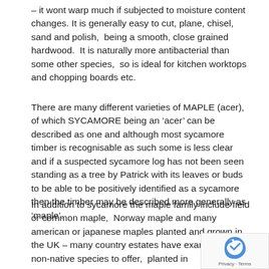– it wont warp much if subjected to moisture content changes. It is generally easy to cut, plane, chisel, sand and polish,  being a smooth, close grained hardwood.  It is naturally more antibacterial than some other species,  so is ideal for kitchen worktops and chopping boards etc.
There are many different varieties of MAPLE (acer),  of which SYCAMORE being an 'acer' can be described as one and although most sycamore timber is recognisable as such some is less clear and if a suspected sycamore log has not been seen standing as a tree by Patrick with its leaves or buds to be able to be positively identified as a sycamore then the timber may be described more generally as 'maple'.
In addition to sycamore the maple family include field or common maple,  Norway maple and many american or japanese maples planted and grown in the UK – many country estates have examples of non-native species to offer, planted in